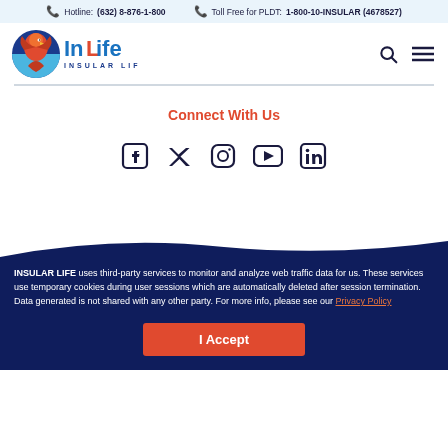Hotline: (632) 8-876-1-800   Toll Free for PLDT: 1-800-10-INSULAR (4678527)
[Figure (logo): InLife Insular Life logo with eagle mascot in orange and blue]
Connect With Us
[Figure (infographic): Social media icons: Facebook, Twitter, Instagram, YouTube, LinkedIn]
INSULAR LIFE uses third-party services to monitor and analyze web traffic data for us. These services use temporary cookies during user sessions which are automatically deleted after session termination. Data generated is not shared with any other party. For more info, please see our Privacy Policy
I Accept